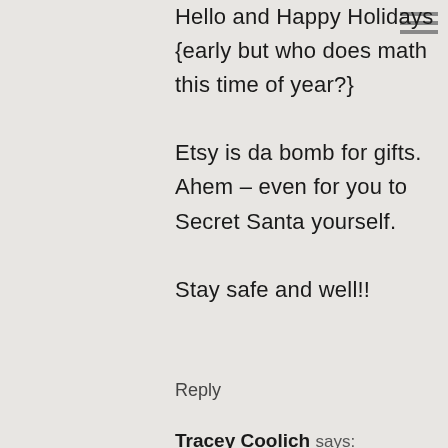Hello and Happy Holidays {early but who does math this time of year?} Etsy is da bomb for gifts. Ahem – even for you to Secret Santa yourself. Stay safe and well!!
Reply
Tracey Coolich says:
You guys are the best. Always